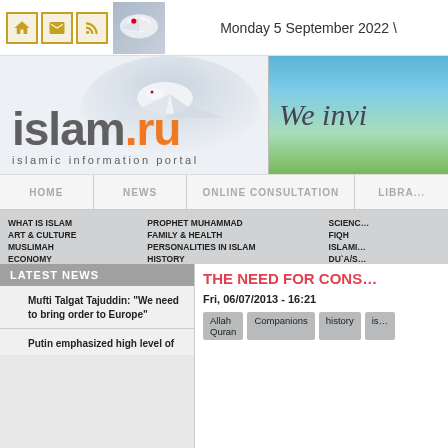Monday 5 September 2022 \
[Figure (logo): islam.ru islamic information portal logo with dove]
[Figure (illustration): We invi... banner with sky and green field]
HOME | NEWS | ONLINE CONSULTATION | LIBRA...
WHAT IS ISLAM
ART & CULTURE
MUSLIMAH
ECONOMY
PROPHET MUHAMMAD
FAMILY & HEALTH
PERSONALITIES IN ISLAM
HISTORY
SCIENC...
FIQH
ISLAMI...
DU`A/S...
LATEST NEWS
Mufti Talgat Tajuddin: “We need to bring order to Europe”
Putin emphasized high level of
THE NEED FOR CONS...
Fri, 06/07/2013 - 16:21
Allah Quran | Companions | history | is...